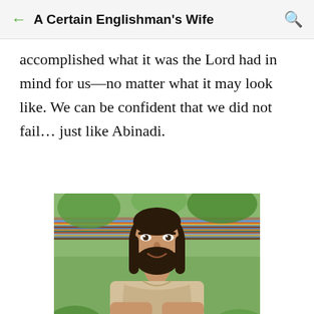A Certain Englishman's Wife
accomplished what it was the Lord had in mind for us—no matter what it may look like. We can be confident that we did not fail… just like Abinadi.
[Figure (photo): A man with long dark hair and a beard, wearing a light-colored tunic, carrying a wooden beam or similar object over his shoulders, set against an outdoor background with greenery. He is smiling and has his arms crossed.]